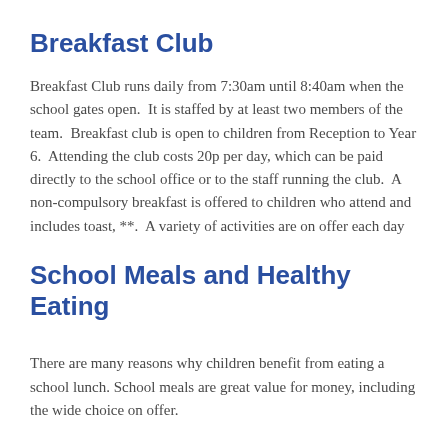Breakfast Club
Breakfast Club runs daily from 7:30am until 8:40am when the school gates open.  It is staffed by at least two members of the team.  Breakfast club is open to children from Reception to Year 6.  Attending the club costs 20p per day, which can be paid directly to the school office or to the staff running the club.  A non-compulsory breakfast is offered to children who attend and includes toast, **.  A variety of activities are on offer each day
School Meals and Healthy Eating
There are many reasons why children benefit from eating a school lunch. School meals are great value for money, including the wide choice on offer.